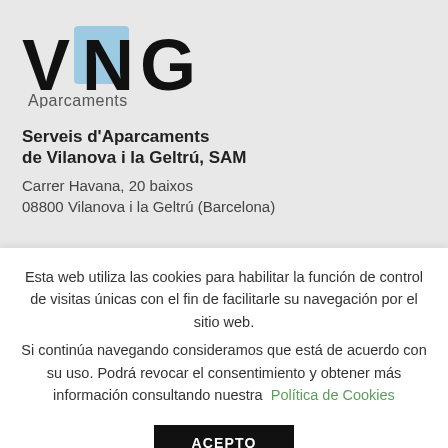[Figure (logo): VNG Aparcaments logo — bold black VNG letters with a blue/light-blue rectangle behind the N, and 'Aparcaments' text below]
Serveis d'Aparcaments de Vilanova i la Geltrú, SAM
Carrer Havana, 20 baixos
08800 Vilanova i la Geltrú (Barcelona)
Esta web utiliza las cookies para habilitar la función de control de visitas únicas con el fin de facilitarle su navegación por el sitio web.
Si continúa navegando consideramos que está de acuerdo con su uso. Podrá revocar el consentimiento y obtener más información consultando nuestra Política de Cookies
ACEPTO